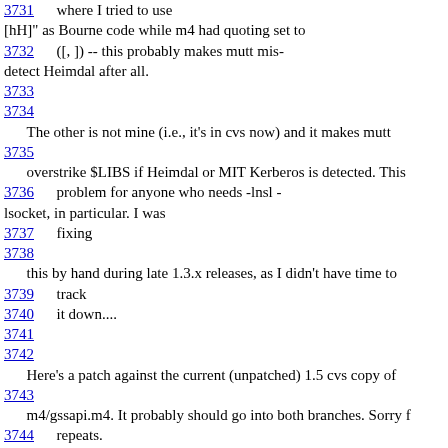3731      where I tried to use [hH]" as Bourne code while m4 had quoting set to
3732      ([, ]) -- this probably makes mutt mis-detect Heimdal after all.
3733
3734
The other is not mine (i.e., it's in cvs now) and it makes mutt
3735
overstrike $LIBS if Heimdal or MIT Kerberos is detected. This
3736      problem for anyone who needs -lnsl -lsocket, in particular. I was
3737      fixing
3738
this by hand during late 1.3.x releases, as I didn't have time to
3739      track
3740      it down....
3741
3742
Here's a patch against the current (unpatched) 1.5 cvs copy of
3743
m4/gssapi.m4. It probably should go into both branches. Sorry f
3744      repeats.
3745
3746 2002/06/06 23:13:54  Michael Elkins <me@sigpipe.org>
3747
3748      * color.c: Fix #1230